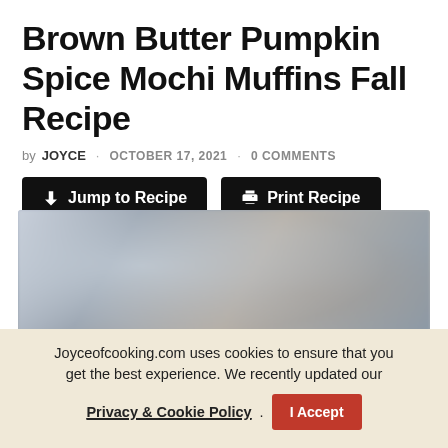Brown Butter Pumpkin Spice Mochi Muffins Fall Recipe
by JOYCE · OCTOBER 17, 2021 · 0 COMMENTS
Jump to Recipe | Print Recipe
[Figure (photo): Close-up blurred photo of mochi muffins in a muffin tin, showing dark metallic surfaces with soft focus]
Joyceofcooking.com uses cookies to ensure that you get the best experience. We recently updated our Privacy & Cookie Policy. I Accept